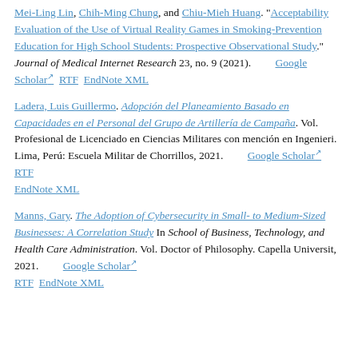Mei-Ling Lin, Chih-Ming Chung, and Chiu-Mieh Huang. "Acceptability Evaluation of the Use of Virtual Reality Games in Smoking-Prevention Education for High School Students: Prospective Observational Study." Journal of Medical Internet Research 23, no. 9 (2021). Google Scholar RTF EndNote XML
Ladera, Luis Guillermo. Adopción del Planeamiento Basado en Capacidades en el Personal del Grupo de Artillería de Campaña. Vol. Profesional de Licenciado en Ciencias Militares con mención en Ingenieri. Lima, Perú: Escuela Militar de Chorrillos, 2021. Google Scholar RTF EndNote XML
Manns, Gary. The Adoption of Cybersecurity in Small- to Medium-Sized Businesses: A Correlation Study In School of Business, Technology, and Health Care Administration. Vol. Doctor of Philosophy. Capella Universit, 2021. Google Scholar RTF EndNote XML